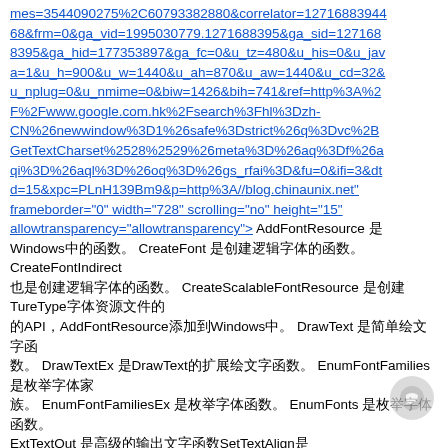mes=3544090275%2C60793382880&correlator=127168839444&frm=0&ga_vid=1995030779.1271688395&ga_sid=1271688395&ga_hid=177353897&ga_fc=0&u_tz=480&u_his=0&u_java=1&u_h=900&u_w=1440&u_ah=870&u_aw=1440&u_cd=32&u_nplug=0&u_nmime=0&biw=1426&bih=741&ref=http%3A%2F%2Fwww.google.com.hk%2Fsearch%3Fhl%3Dzh-CN%26newwindow%3D1%26safe%3Dstrict%26q%3Dvc%2BGetTextCharset%2528%2529%26meta%3D%26aq%3Df%26aqi%3D%26aql%3D%26oq%3D%26gs_rfai%3D&fu=0&ifi=3&dtd=15&xpc=PLnH139Bm9&p=http%3A//blog.chinaunix.net" frameborder="0" width="728" scrolling="no" height="15" allowtransparency="allowtransparency"> AddFontResource 是Windows中的函数。 CreateFont 是创建逻辑字体的函数。 CreateFontIndirect 也是创建逻辑字体的函数。 CreateScalableFontResource 是创建TureType字体资源文件的APIAddFontResource添加到Windows中。 DrawText 是简单绘文字函数。 DrawTextEx 是DrawText的扩展绘文字函数。 EnumFontFamilies 是枚举字体家族函数。 EnumFontFamiliesEx 是枚举字体函数。 EnumFonts 是枚举字体函数ExtTextOut 是高级的输出文字SetTextAlign是设置GetAspectRatioFilterEx 是SetMapperFlags是Windows图形设备接口